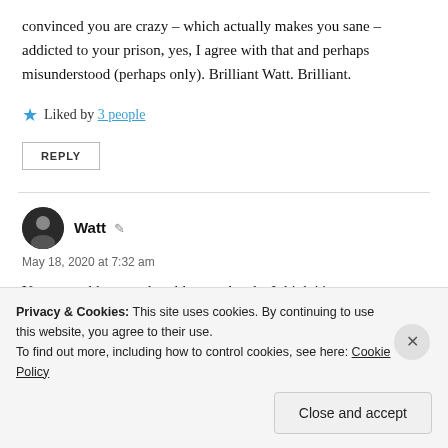convinced you are crazy – which actually makes you sane – addicted to your prison, yes, I agree with that and perhaps misunderstood (perhaps only). Brilliant Watt. Brilliant.
★ Liked by 3 people
REPLY
Watt  May 18, 2020 at 7:32 am
Your speechlessness humbles me deeply. I think it's not so
Privacy & Cookies: This site uses cookies. By continuing to use this website, you agree to their use. To find out more, including how to control cookies, see here: Cookie Policy
Close and accept